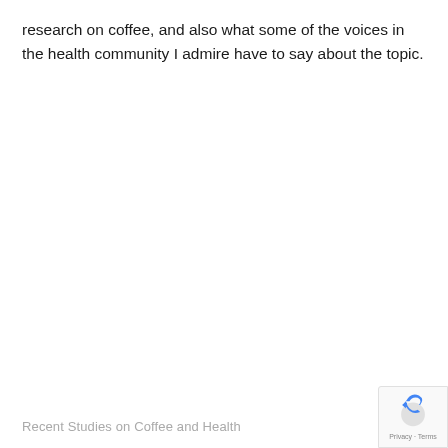research on coffee, and also what some of the voices in the health community I admire have to say about the topic.
Recent Studies on Coffee and Health